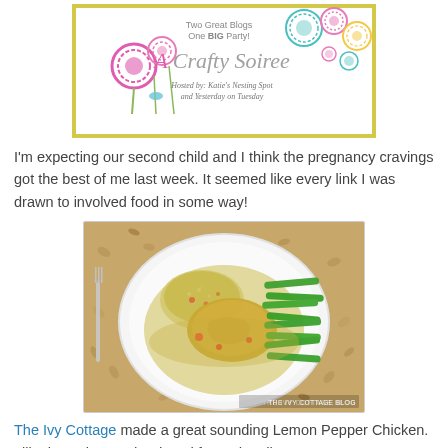[Figure (illustration): A Crafty Soiree blog party banner with decorative circular flower designs, text 'Two Great Blogs One BIG Party! A Crafty Soiree Hosted by: Katie's Nesting Spot and Yesterday on Tuesday', framed with a yellow-gold border.]
I'm expecting our second child and I think the pregnancy cravings got the best of me last week. It seemed like every link I was drawn to involved food in some way!
[Figure (photo): A plate of Lemon Pepper Chicken with green beans and rice/stuffing in a yellow-green sauce, served on a white plate on a wooden surface. Watermark reads 'THE IVY COTTAGE BLOG'.]
The Ivy Cottage made a great sounding Lemon Pepper Chicken. I like how she used reduced fat and sodium...